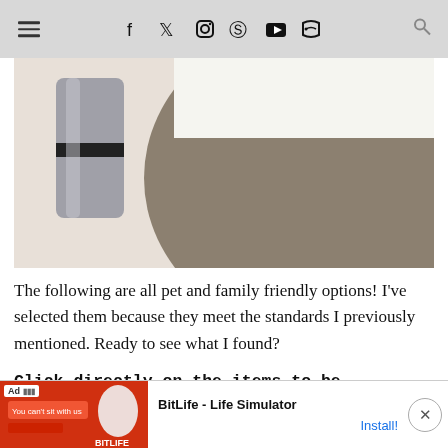≡  f  🐦  📷   Pinterest  ▶  RSS  🔍
[Figure (photo): Close-up photo of a round taupe/brown table top with a silver cylindrical canister with black band visible on the left side, set against white background]
The following are all pet and family friendly options! I've selected them because they meet the standards I previously mentioned. Ready to see what I found?
Click directly on the items to be redirected to the source- or use the numbered links below the collage to shop...
[Figure (screenshot): Advertisement bar at bottom: BitLife - Life Simulator app ad with red background image on left showing 'You can't sit with us' text, Install button on right]